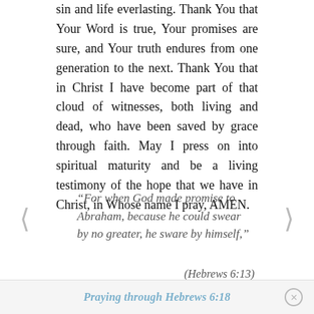sin and life everlasting. Thank You that Your Word is true, Your promises are sure, and Your truth endures from one generation to the next. Thank You that in Christ I have become part of that cloud of witnesses, both living and dead, who have been saved by grace through faith. May I press on into spiritual maturity and be a living testimony of the hope that we have in Christ, in Whose name I pray, AMEN.
“For when God made promise to Abraham, because he could swear by no greater, he sware by himself,”
(Hebrews 6:13)
Source: Verse of the day for Hebrews 6:13
Praying through Hebrews 6:18